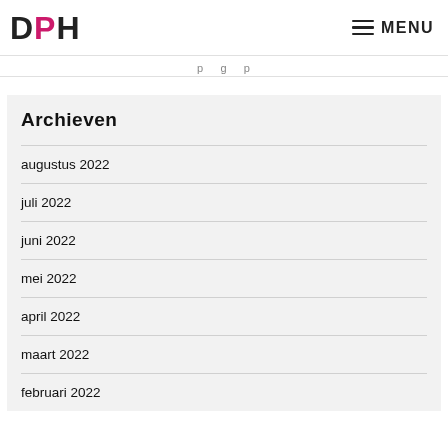DPH MENU
p g p
Archieven
augustus 2022
juli 2022
juni 2022
mei 2022
april 2022
maart 2022
februari 2022